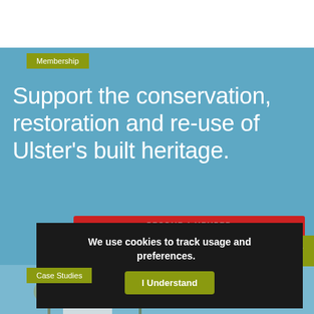Membership
Support the conservation, restoration and re-use of Ulster's built heritage.
We use cookies to track usage and preferences.
I Understand
Case Studies
[Figure (photo): Photograph of a historic building with trees against a blue sky, partially visible at bottom of page]